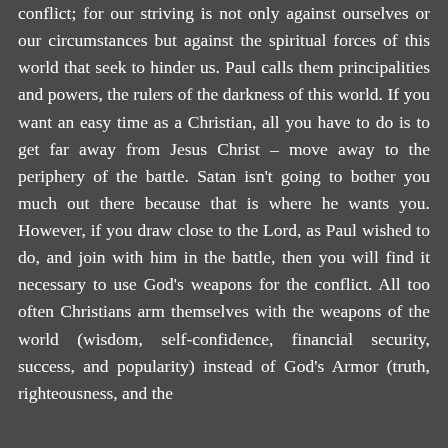conflict; for our striving is not only against ourselves or our circumstances but against the spiritual forces of this world that seek to hinder us. Paul calls them principalities and powers, the rulers of the darkness of this world. If you want an easy time as a Christian, all you have to do is to get far away from Jesus Christ – move away to the periphery of the battle. Satan isn't going to bother you much out there because that is where he wants you. However, if you draw close to the Lord, as Paul wished to do, and join with him in the battle, then you will find it necessary to use God's weapons for the conflict. All too often Christians arm themselves with the weapons of the world (wisdom, self-confidence, financial security, success, and popularity) instead of God's Armor (truth, righteousness, and the